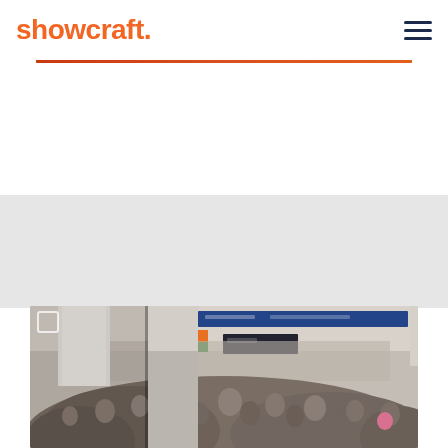showcraft.
[Figure (photo): Blurred photo of a large trade show or convention hall filled with crowds of people, with blue banners and signage visible at the top, white architectural columns on the left, partially overlaid by a mobile phone frame on the left side]
[Figure (logo): Showcraft logo in orange text with a period, and a hamburger menu icon in dark navy on the right]